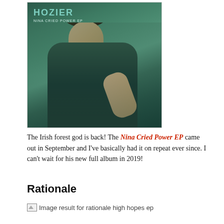[Figure (photo): Album cover for Hozier 'Nina Cried Power EP' showing a person underwater with dark hair floating, teal/green tones, with 'HOZIER' and 'NINA CRIED POWER EP' text overlaid]
The Irish forest god is back! The Nina Cried Power EP came out in September and I've basically had it on repeat ever since. I can't wait for his new full album in 2019!
Rationale
[Figure (photo): Broken image placeholder with alt text: Image result for rationale high hopes ep]